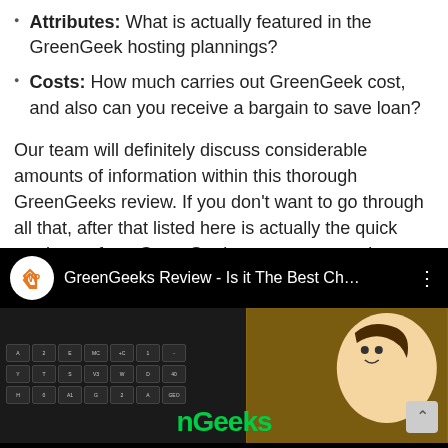Attributes: What is actually featured in the GreenGeek hosting plannings?
Costs: How much carries out GreenGeek cost, and also can you receive a bargain to save loan?
Our team will definitely discuss considerable amounts of information within this thorough GreenGeeks review. If you don't want to go through all that, after that listed here is actually the quick rundown of our GreenGeeks assessment rating.
[Figure (screenshot): YouTube video embed showing 'GreenGeeks Review - Is it The Best Ch...' with a laptop keyboard on the left and a cartoon character on the right with green GreenGeeks text overlay]